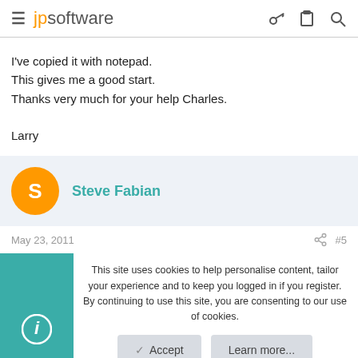jpsoftware
I've copied it with notepad.
This gives me a good start.
Thanks very much for your help Charles.

Larry
Steve Fabian
May 23, 2011  #5
This site uses cookies to help personalise content, tailor your experience and to keep you logged in if you register.
By continuing to use this site, you are consenting to our use of cookies.